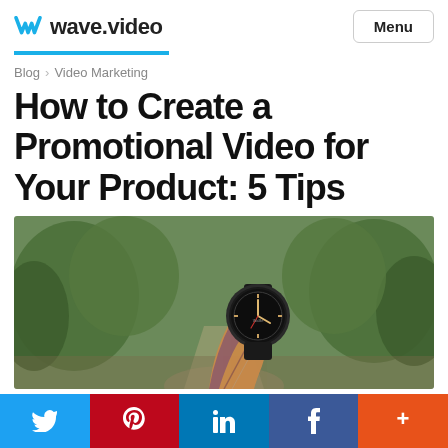wave.video — Menu
Blog > Video Marketing
How to Create a Promotional Video for Your Product: 5 Tips
[Figure (photo): A hand holding up a dark-faced analog wristwatch outdoors with blurred green trees in background]
Social share buttons: Twitter, Pinterest, LinkedIn, Facebook, More (+)